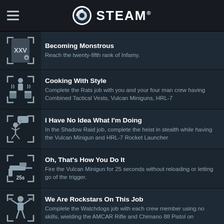STEAM
Becoming Monstrous — Reach the twenty-fifth rank of Infamy.
Cooking With Style — Complete the Rats job with you and your four man crew having Combined Tactical Vests, Vulcan Miniguns, HRL-7
I Have No Idea What I'm Doing — In the Shadow Raid job, complete the heist in stealth while having the Vulcan Minigun and HRL-7 Rocket Launcher
Oh, That's How You Do It — Fire the Vulcan Minigun for 25 seconds without reloading or letting go of the trigger.
We Are Rockstars On This Job — Complete the Watchdogs job with each crew member using no skills, wielding the AMCAR Rifle and Chimano 88 Pistol on